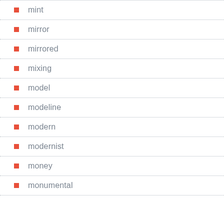mint
mirror
mirrored
mixing
model
modeline
modern
modernist
money
monumental